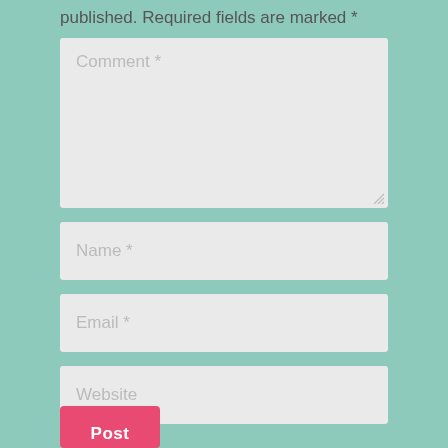published. Required fields are marked *
Comment *
Name *
Email *
Website